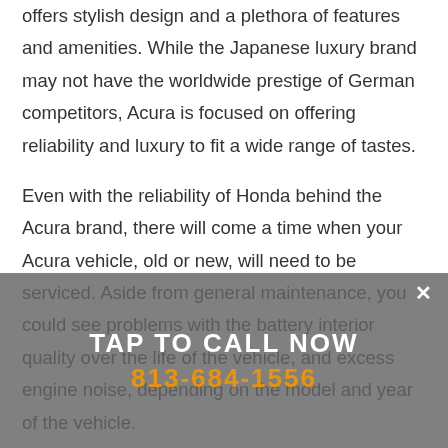offers stylish design and a plethora of features and amenities. While the Japanese luxury brand may not have the worldwide prestige of German competitors, Acura is focused on offering reliability and luxury to fit a wide range of tastes.
Even with the reliability of Honda behind the Acura brand, there will come a time when your Acura vehicle, old or new, will need to be serviced. Aside from general maintenance, you could see problems with the battery interior quality over the life of the vehicle, and excess engine noise, depending on the model and year of the vehicle.